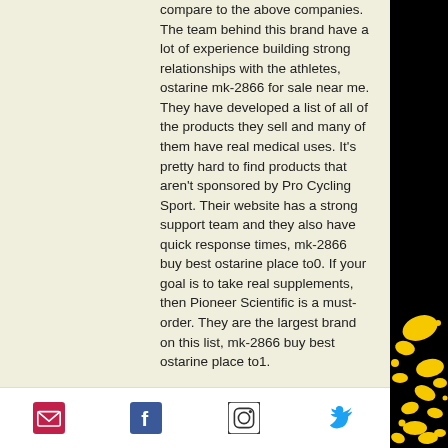compare to the above companies. The team behind this brand have a lot of experience building strong relationships with the athletes, ostarine mk-2866 for sale near me. They have developed a list of all of the products they sell and many of them have real medical uses. It's pretty hard to find products that aren't sponsored by Pro Cycling Sport. Their website has a strong support team and they also have quick response times, mk-2866 buy best ostarine place to0. If your goal is to take real supplements, then Pioneer Scientific is a must-order. They are the largest brand on this list, mk-2866 buy best ostarine place to1.

Check out our review of Pioneer Scientific's creatine booster products by clicking "back"
[email icon] [facebook icon] [instagram icon] [twitter icon]